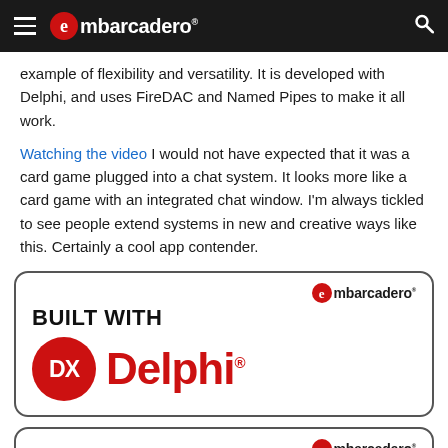embarcadero
example of flexibility and versatility. It is developed with Delphi, and uses FireDAC and Named Pipes to make it all work.
Watching the video I would not have expected that it was a card game plugged into a chat system. It looks more like a card game with an integrated chat window. I'm always tickled to see people extend systems in new and creative ways like this. Certainly a cool app contender.
[Figure (logo): Embarcadero 'Built with Delphi' badge showing the Embarcadero logo in top right, BUILT WITH text, and the DX Delphi logo with red circle DX badge and red Delphi wordmark]
[Figure (logo): Partial second Embarcadero badge card showing only the top portion with the Embarcadero logo in the top right]